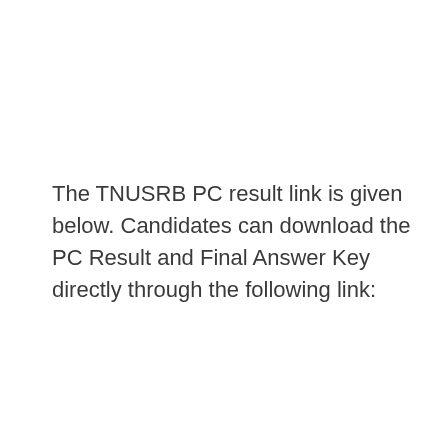The TNUSRB PC result link is given below. Candidates can download the PC Result and Final Answer Key directly through the following link: